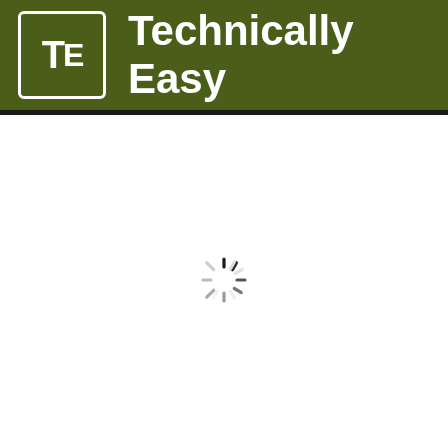Technically Easy
[Figure (other): Loading spinner icon (circular dashed loading indicator) centered in the white content area below the header]